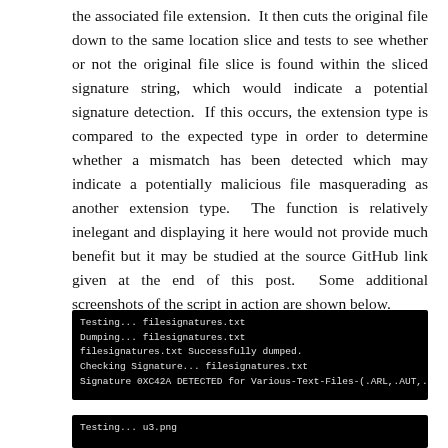the associated file extension.  It then cuts the original file down to the same location slice and tests to see whether or not the original file slice is found within the sliced signature string, which would indicate a potential signature detection.  If this occurs, the extension type is compared to the expected type in order to determine whether a mismatch has been detected which may indicate a potentially malicious file masquerading as another extension type.  The function is relatively inelegant and displaying it here would not provide much benefit but it may be studied at the source GitHub link given at the end of this post.  Some additional screenshots of the script in action are shown below.
[Figure (screenshot): Terminal screenshot showing: Testing... filesignatures.txt / Dumping... filesignatures.txt / filesignatures.txt Successfully dumped. / Checking Signature... filesignatures.txt / Signature 0XC42A DETECTED for Various-Text-Files-(.ARL,.AUT,.TXT) file At OFFSET 0]
[Figure (screenshot): Terminal screenshot showing: Testing... u3.png]